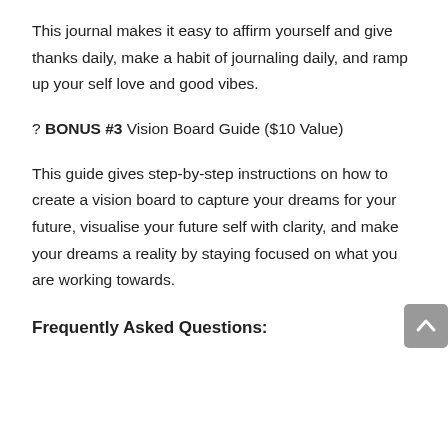This journal makes it easy to affirm yourself and give thanks daily, make a habit of journaling daily, and ramp up your self love and good vibes.
? BONUS #3 Vision Board Guide ($10 Value)
This guide gives step-by-step instructions on how to create a vision board to capture your dreams for your future, visualise your future self with clarity, and make your dreams a reality by staying focused on what you are working towards.
Frequently Asked Questions: